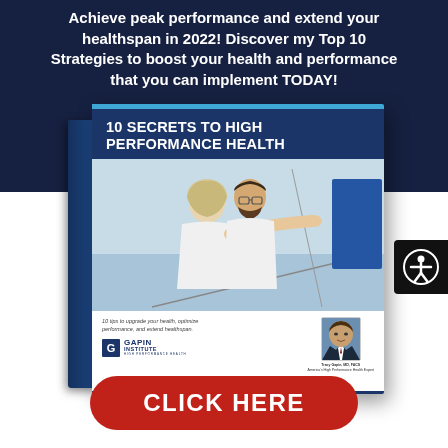Achieve peak performance and extend your healthspan in 2022! Discover my Top 10 Strategies to boost your health and performance that you can implement TODAY!
[Figure (illustration): 3D book mockup titled '10 Secrets to High Performance Health' by Gapin Institute, showing a couple on a sailboat on the cover, with author photo and tagline at the bottom.]
[Figure (logo): Accessibility icon button - person in circle symbol on dark background]
CLICK HERE